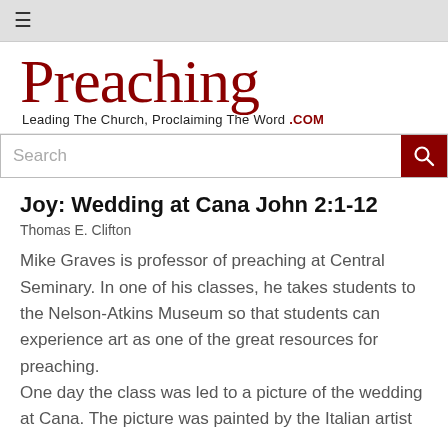≡
Preaching Leading The Church, Proclaiming The Word .COM
[Figure (other): Search bar with red search button icon]
Joy: Wedding at Cana John 2:1-12
Thomas E. Clifton
Mike Graves is professor of preaching at Central Seminary. In one of his classes, he takes students to the Nelson-Atkins Museum so that students can experience art as one of the great resources for preaching. One day the class was led to a picture of the wedding at Cana. The picture was painted by the Italian artist